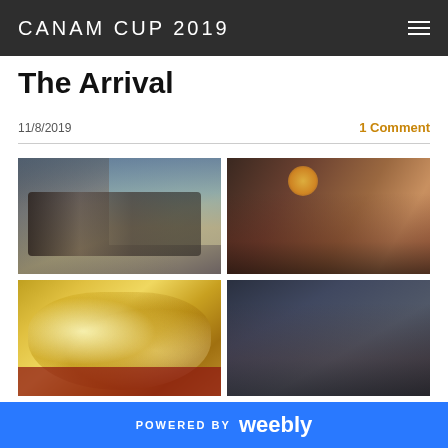CANAM CUP 2019
The Arrival
11/8/2019
1 Comment
[Figure (photo): Group of people in matching red shirts sitting in an airport lounge with large windows]
[Figure (photo): Group of people in red shirts gathered in a restaurant or bar area with warm lighting]
[Figure (photo): Close-up of a large silver trophy cup on a red background]
[Figure (photo): Group of people in red shirts sitting and conversing in an airport lounge]
POWERED BY weebly